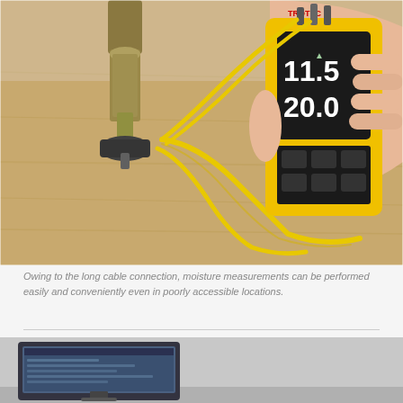[Figure (photo): A person's hand holds a yellow TROTEC moisture meter device with digital display showing '11.5' and '20.0', connected via long yellow cables to a metal moisture probe inserted into a wooden surface on a table.]
Owing to the long cable connection, moisture measurements can be performed easily and conveniently even in poorly accessible locations.
[Figure (photo): A man looking at a computer monitor, partially visible at bottom of page.]